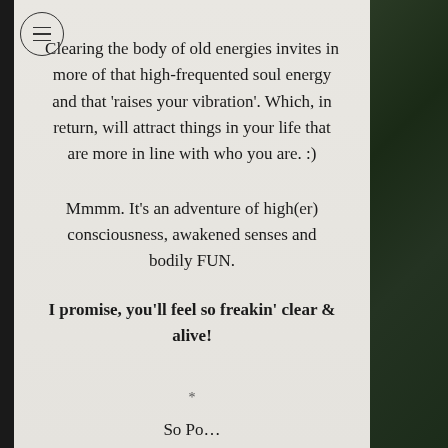Clearing the body of old energies invites in more of that high-frequented soul energy and that 'raises your vibration'. Which, in return, will attract things in your life that are more in line with who you are. :)
Mmmm. It's an adventure of high(er) consciousness, awakened senses and bodily FUN.
I promise, you'll feel so freakin' clear & alive!
*
So Pon...